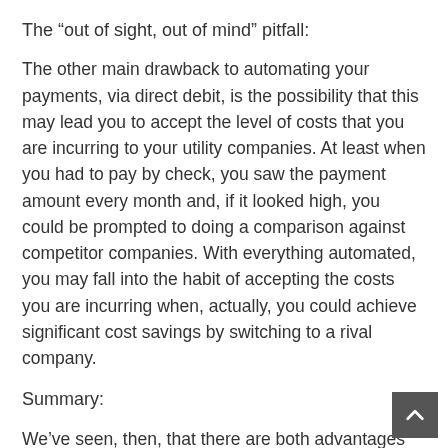The “out of sight, out of mind” pitfall:
The other main drawback to automating your payments, via direct debit, is the possibility that this may lead you to accept the level of costs that you are incurring to your utility companies. At least when you had to pay by check, you saw the payment amount every month and, if it looked high, you could be prompted to doing a comparison against competitor companies. With everything automated, you may fall into the habit of accepting the costs you are incurring when, actually, you could achieve significant cost savings by switching to a rival company.
Summary:
We’ve seen, then, that there are both advantages and disadvantages to paying your bills by direct debit. Speaking personally, I have made the switch to direct